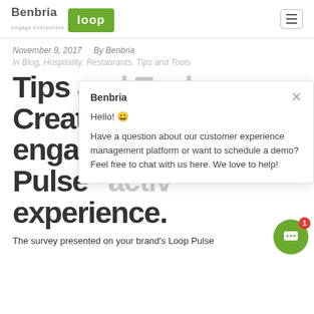Benbria Loop — Engage Everywhere
November 9, 2017   By Benbria
In Blog, Hospitality, Restaurants, Tips and Tools
Tips and Tools: Creating an engaging Loop Pulse™ experience.
[Figure (screenshot): Benbria chat popup overlay with greeting: Hello! 😀 Have a question about our customer experience management platform or want to schedule a demo? Feel free to chat with us here. We love to help!]
The survey presented on your brand's Loop Pulse